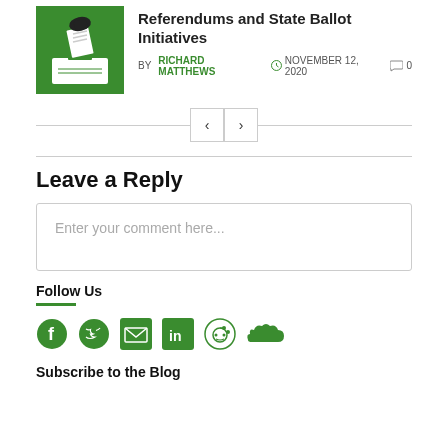[Figure (illustration): Green box with hand dropping ballot into ballot box illustration]
Referendums and State Ballot Initiatives
BY RICHARD MATTHEWS  NOVEMBER 12, 2020  0
Navigation buttons: < >
Leave a Reply
Enter your comment here...
Follow Us
[Figure (infographic): Social media icons: Facebook, Twitter, Email, LinkedIn, Reddit, Soundcloud — all in green]
Subscribe to the Blog